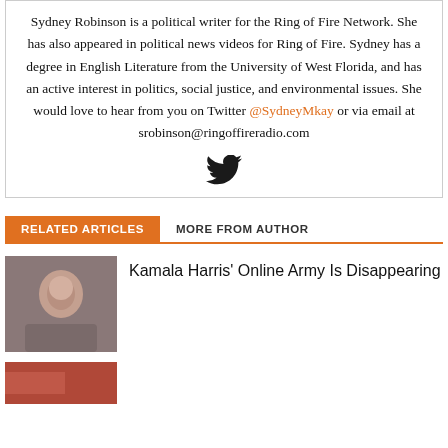Sydney Robinson is a political writer for the Ring of Fire Network. She has also appeared in political news videos for Ring of Fire. Sydney has a degree in English Literature from the University of West Florida, and has an active interest in politics, social justice, and environmental issues. She would love to hear from you on Twitter @SydneyMkay or via email at srobinson@ringoffireradio.com
[Figure (illustration): Twitter bird icon]
RELATED ARTICLES    MORE FROM AUTHOR
[Figure (photo): Photo of Kamala Harris]
Kamala Harris' Online Army Is Disappearing
[Figure (photo): Partially visible photo at bottom of page]